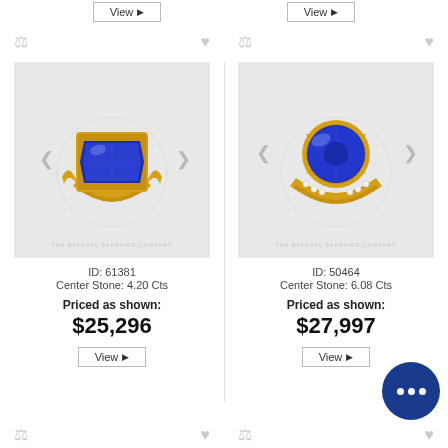[Figure (photo): Yellow gold ring with emerald-cut blue sapphire in bezel setting, ID 61381]
ID: 61381
Center Stone: 4.20 Cts
Priced as shown:
$25,296
[Figure (photo): Yellow gold ring with round blue sapphire and diamond pavé band, ID 50464]
ID: 50464
Center Stone: 6.08 Cts
Priced as shown:
$27,997